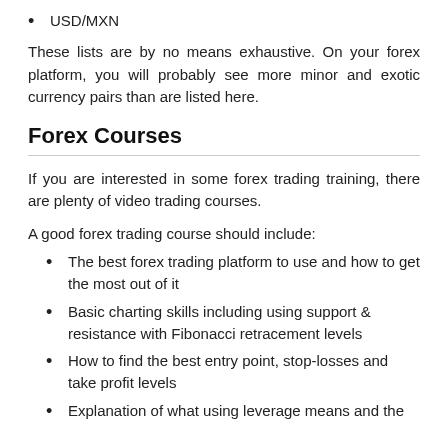USD/MXN
These lists are by no means exhaustive. On your forex platform, you will probably see more minor and exotic currency pairs than are listed here.
Forex Courses
If you are interested in some forex trading training, there are plenty of video trading courses.
A good forex trading course should include:
The best forex trading platform to use and how to get the most out of it
Basic charting skills including using support & resistance with Fibonacci retracement levels
How to find the best entry point, stop-losses and take profit levels
Explanation of what using leverage means and the